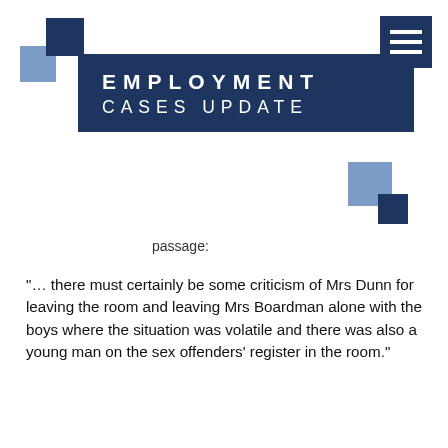[Figure (logo): Two overlapping squares logo — dark navy and light blue — top left corner]
[Figure (logo): Hamburger menu icon (three white lines) in dark navy square, top right corner]
EMPLOYMENT CASES UPDATE
[Figure (illustration): Two decorative squares (light blue and dark navy) bottom-right of the title banner]
passage:
"… there must certainly be some criticism of Mrs Dunn for leaving the room and leaving Mrs Boardman alone with the boys where the situation was volatile and there was also a young man on the sex offenders' register in the room."
That is consistent with a finding in favour of Mrs Boardman's account of the circumstances of Mrs Dunn's departure. Reconciling the earlier and later passages of the ET's judgment on this issue is difficult. Moreover, whilst the issue